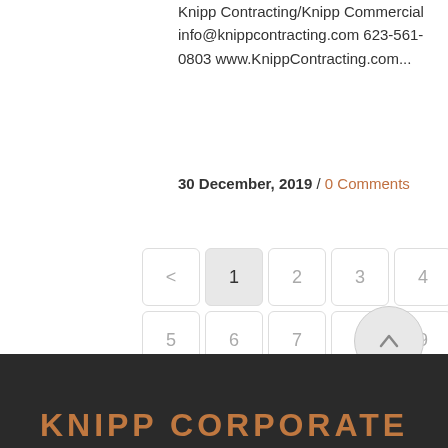Knipp Contracting/Knipp Commercial info@knippcontracting.com 623-561-0803 www.KnippContracting.com...
30 December, 2019 / 0 Comments
[Figure (other): Pagination widget with navigation buttons: <, 1 (active), 2, 3, 4, 5, 6, 7, 8, 9, 10, 11, 12, >]
[Figure (other): Back to top arrow button (circular, light grey)]
KNIPP CORPORATE